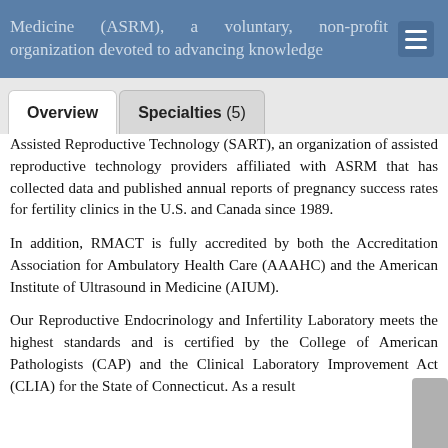Medicine (ASRM), a voluntary, non-profit organization devoted to advancing knowledge
Assisted Reproductive Technology (SART), an organization of assisted reproductive technology providers affiliated with ASRM that has collected data and published annual reports of pregnancy success rates for fertility clinics in the U.S. and Canada since 1989.
In addition, RMACT is fully accredited by both the Accreditation Association for Ambulatory Health Care (AAAHC) and the American Institute of Ultrasound in Medicine (AIUM).
Our Reproductive Endocrinology and Infertility Laboratory meets the highest standards and is certified by the College of American Pathologists (CAP) and the Clinical Laboratory Improvement Act (CLIA) for the State of Connecticut. As a result